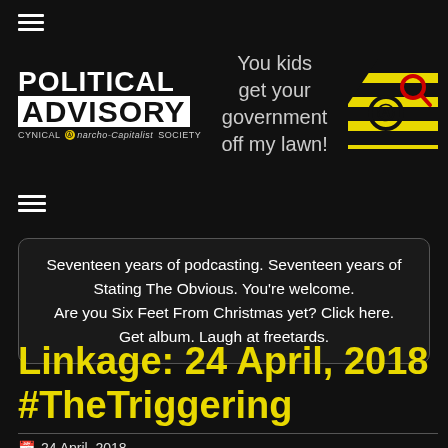[Figure (logo): Hamburger menu icon (three horizontal lines) at top left]
[Figure (logo): Political Advisory Cynical Anarcho-Capitalist Society logo with text and anarchy symbol]
You kids get your government off my lawn!
[Figure (logo): Yellow and black anarcho-capitalist flag logo with anarchy circle-A symbol and red magnifying glass]
[Figure (logo): Second hamburger menu icon (three horizontal lines)]
Seventeen years of podcasting. Seventeen years of Stating The Obvious. You're welcome. Are you Six Feet From Christmas yet? Click here. Get album. Laugh at freetards.
Linkage: 24 April, 2018 #TheTriggering
24 April, 2018